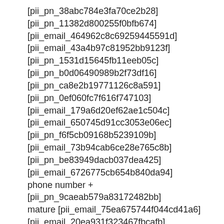[pii_pn_38abc784e3fa70ce2b28]
[pii_pn_11382d800255f0bfb674]
[pii_email_464962c8c69259445591d]
[pii_email_43a4b97c81952bb9123f]
[pii_pn_1531d15645fb11eeb05c]
[pii_pn_b0d06490989b2f73df16]
[pii_pn_ca8e2b19771126c8a591]
[pii_pn_0ef060fc7f616f747103]
[pii_email_179a6d20ef62ae1c504c]
[pii_email_650745d91cc3053e06ec]
[pii_pn_f6f5cb09168b5239109b]
[pii_email_73b94cab6ce28e765c8b]
[pii_pn_be83949dacb037dea425]
[pii_email_6726775cb654b840da94]
phone number +[pii_pn_9caeab579a83172482bb]
mature [pii_email_75ea675744f044cd41a6]
[pii_email_20ea931f323467fbcafb]
[pii_email_8bb75cac37546eb0e9da]
[pii_pn_c9760b2ce4847b882964]